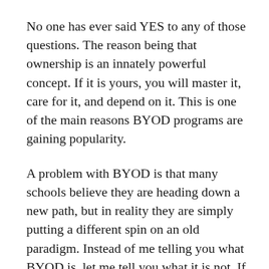No one has ever said YES to any of those questions. The reason being that ownership is an innately powerful concept. If it is yours, you will master it, care for it, and depend on it. This is one of the main reasons BYOD programs are gaining popularity.
A problem with BYOD is that many schools believe they are heading down a new path, but in reality they are simply putting a different spin on an old paradigm. Instead of me telling you what BYOD is, let me tell you what it is not. If any of these statements are true then the school is not running a BYOD program:
1. The school controls the device and is used...